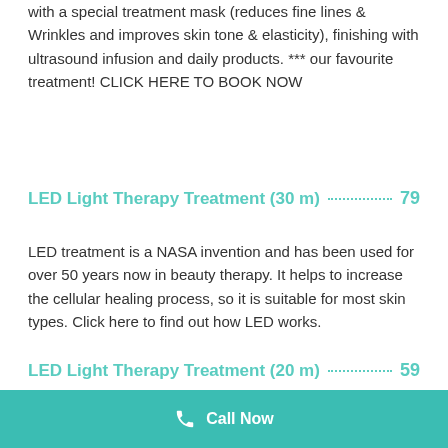with a special treatment mask (reduces fine lines & Wrinkles and improves skin tone & elasticity), finishing with ultrasound infusion and daily products. *** our favourite treatment! CLICK HERE TO BOOK NOW
LED Light Therapy Treatment (30 m) 79
LED treatment is a NASA invention and has been used for over 50 years now in beauty therapy. It helps to increase the cellular healing process, so it is suitable for most skin types. Click here to find out how LED works.
LED Light Therapy Treatment (20 m) 59
LED Light Therapy Treatment (15 m) 49
Call Now